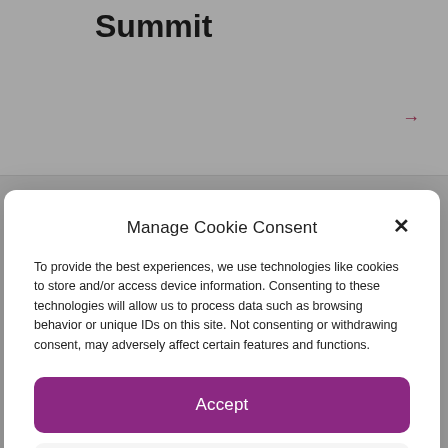Summit
Manage Cookie Consent
To provide the best experiences, we use technologies like cookies to store and/or access device information. Consenting to these technologies will allow us to process data such as browsing behavior or unique IDs on this site. Not consenting or withdrawing consent, may adversely affect certain features and functions.
Accept
Deny
View preferences
Cookie Policy   Privacy Statement